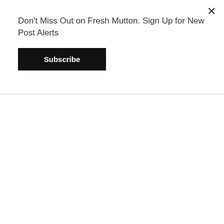Don't Miss Out on Fresh Mutton. Sign Up for New Post Alerts
Subscribe
[Figure (photo): Outdoor town square scene on a rainy day. A blue Rotary Club of Epping banner is displayed on metal crowd-control barriers. A large decorated Christmas tree is visible in the background, along with a row of shops. The wet pavement reflects the overcast sky.]
Sun Dec 12
Rest day. Woke up v late for me, 6.50. Intended to take blog photos but heart not in it. Roast lamb. Watched Grand Prix final. Lewis Hamilton robbed.